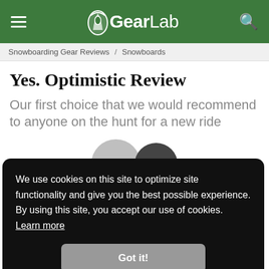GearLab
Snowboarding Gear Reviews / Snowboards
Yes. Optimistic Review
Our first choice that we would recommend to anyone on the hunt for a new ride
[Figure (photo): Partial view of snowboard tops visible behind cookie consent overlay]
We use cookies on this site to optimize site functionality and give you the best possible experience. By using this site, you accept our use of cookies. Learn more
Got it!